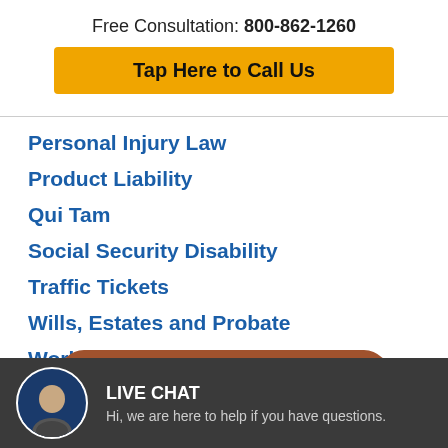Free Consultation: 800-862-1260
Tap Here to Call Us
Personal Injury Law
Product Liability
Qui Tam
Social Security Disability
Traffic Tickets
Wills, Estates and Probate
Workers' Compensation
YES, start now!
LIVE CHAT
Hi, we are here to help if you have questions.